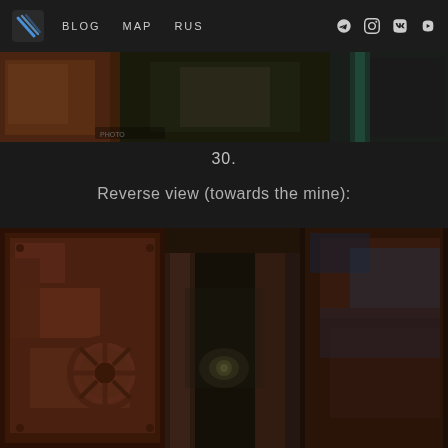BLOG  MAP  RUS
[Figure (photo): Partial top photo showing a dark industrial/underground tunnel interior with rusty metal surfaces and dim lighting]
30.
Reverse view (towards the mine):
[Figure (photo): Large photo of an abandoned underground mine/tunnel with heavily rusted metal door/bulkhead with a wheel valve on the left, and a flooded corridor extending into the distance with blurred rusty walls on both sides]